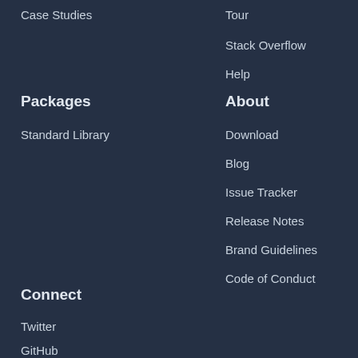Case Studies
Tour
Stack Overflow
Help
Packages
About
Standard Library
Download
Blog
Issue Tracker
Release Notes
Brand Guidelines
Code of Conduct
Connect
Twitter
GitHub